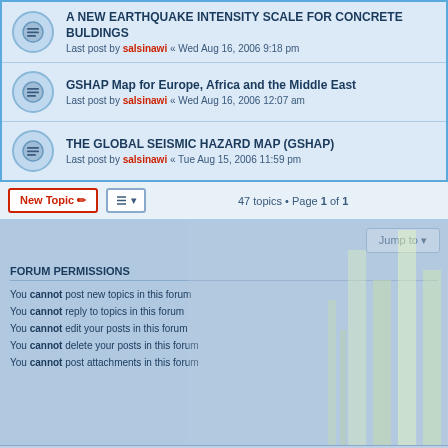A NEW EARTHQUAKE INTENSITY SCALE FOR CONCRETE BULDINGS
Last post by salsinawi « Wed Aug 16, 2006 9:18 pm
GSHAP Map for Europe, Africa and the Middle East
Last post by salsinawi « Wed Aug 16, 2006 12:07 am
THE GLOBAL SEISMIC HAZARD MAP (GSHAP)
Last post by salsinawi « Tue Aug 15, 2006 11:59 pm
47 topics • Page 1 of 1
FORUM PERMISSIONS
You cannot post new topics in this forum
You cannot reply to topics in this forum
You cannot edit your posts in this forum
You cannot delete your posts in this forum
You cannot post attachments in this forum
Main Website · Board index   All times are UTC-04:00
Powered by phpBB® Forum Software © phpBB Limited
Privacy | Terms